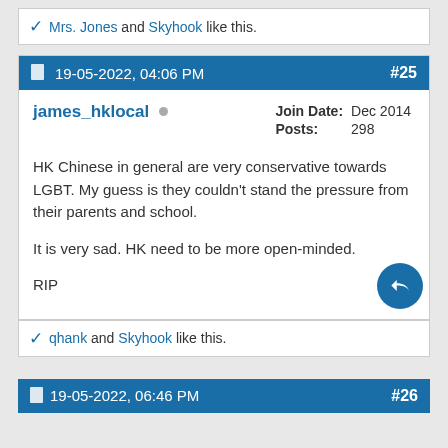Mrs. Jones and Skyhook like this.
19-05-2022, 04:06 PM  #25
james_hklocal  Join Date: Dec 2014  Posts: 298
HK Chinese in general are very conservative towards LGBT. My guess is they couldn't stand the pressure from their parents and school.

It is very sad. HK need to be more open-minded.

RIP
qhank and Skyhook like this.
19-05-2022, 06:46 PM  #26